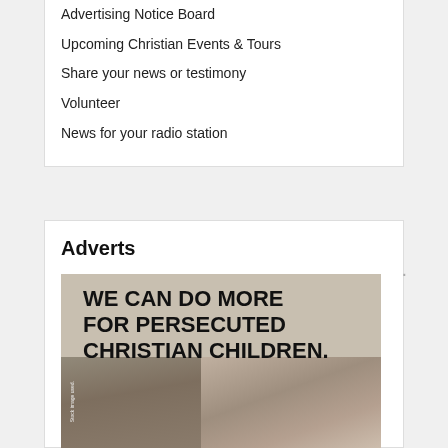Advertising Notice Board
Upcoming Christian Events & Tours
Share your news or testimony
Volunteer
News for your radio station
Adverts
[Figure (illustration): Advertisement image with bold text reading 'WE CAN DO MORE FOR PERSECUTED CHRISTIAN CHILDREN.' overlaid on a photo of a young boy against a ruined background]